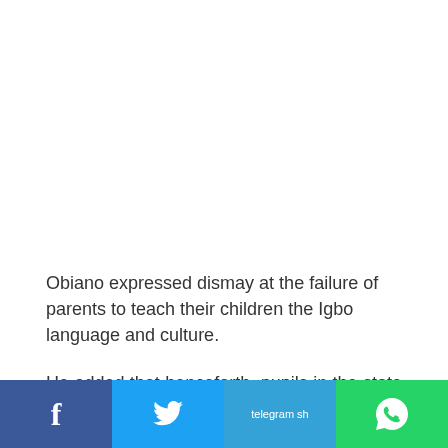Obiano expressed dismay at the failure of parents to teach their children the Igbo language and culture.
He added that henceforth, pupils in the state would wear Igbo traditional attire to school every Wednesday.
[Figure (infographic): Social media sharing bar with Facebook (blue), Twitter (light blue), Telegram (blue-green), and WhatsApp (green) buttons at the bottom of the page]